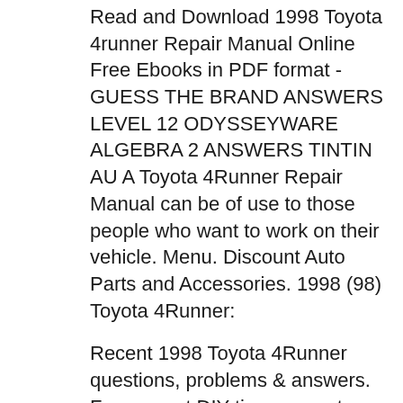Read and Download 1998 Toyota 4runner Repair Manual Online Free Ebooks in PDF format - GUESS THE BRAND ANSWERS LEVEL 12 ODYSSEYWARE ALGEBRA 2 ANSWERS TINTIN AU A Toyota 4Runner Repair Manual can be of use to those people who want to work on their vehicle. Menu. Discount Auto Parts and Accessories. 1998 (98) Toyota 4Runner:
Recent 1998 Toyota 4Runner questions, problems & answers. Free expert DIY tips, support, troubleshooting help & repair advice for all 4Runner Cars & Trucks. 1998 Toyota 4Runner Service Manual Online Download 1998 Toyota 4Runner Service Manual Online